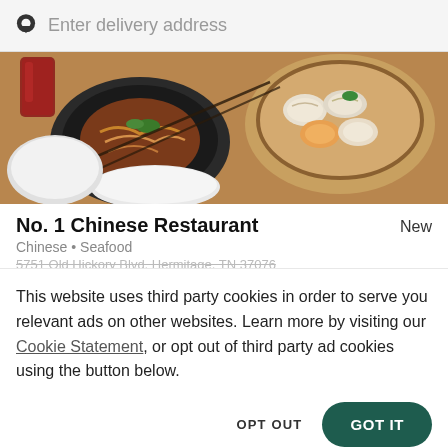Enter delivery address
[Figure (photo): Food photo showing Chinese dishes: a bowl of braised noodles/meat in a black pot, dim sum dumplings in a bamboo steamer, white bowls with various dishes, and a red drink on a wooden table.]
No. 1 Chinese Restaurant
New
Chinese • Seafood
5751 Old Hickory Blvd, Hermitage, TN 37076
This website uses third party cookies in order to serve you relevant ads on other websites. Learn more by visiting our Cookie Statement, or opt out of third party ad cookies using the button below.
OPT OUT
GOT IT